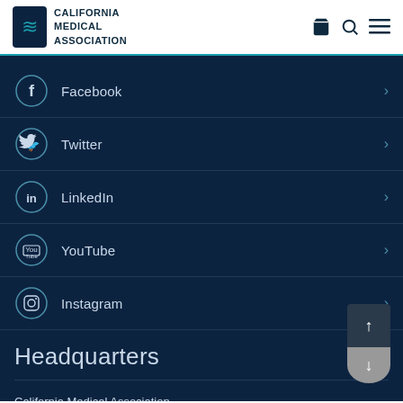California Medical Association
Facebook
Twitter
LinkedIn
YouTube
Instagram
Headquarters
California Medical Association